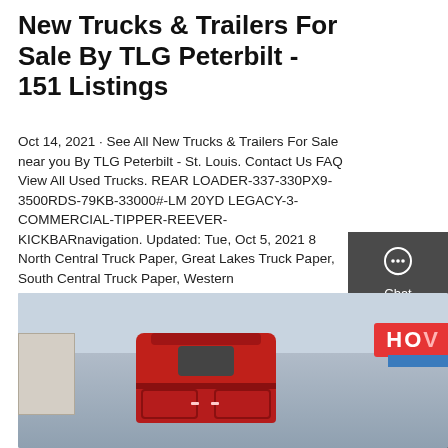New Trucks & Trailers For Sale By TLG Peterbilt - 151 Listings
Oct 14, 2021 · See All New Trucks & Trailers For Sale near you By TLG Peterbilt - St. Louis. Contact Us FAQ View All Used Trucks. REAR LOADER-337-330PX9-3500RDS-79KB-33000#-LM 20YD LEGACY-3-COMMERCIAL-TIPPER-REEVER-KICKBARnavigation. Updated: Tue, Oct 5, 2021 8 North Central Truck Paper, Great Lakes Truck Paper, South Central Truck Paper, Western
[Figure (infographic): Sidebar with Chat, Email, and Contact icons on dark grey background]
GET A QUOTE
[Figure (photo): Photograph of a red truck/trailer from behind in a commercial yard, with a building and a red and blue HOV sign visible on the right]